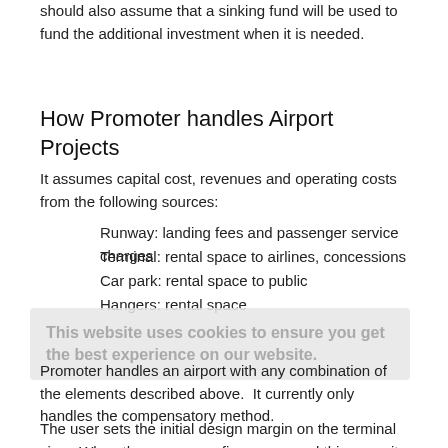should also assume that a sinking fund will be used to fund the additional investment when it is needed.
How Promoter handles Airport Projects
It assumes capital cost, revenues and operating costs from the following sources:
Runway: landing fees and passenger service charges
Terminal: rental space to airlines, concessions
Car park: rental space to public
Hangers: rental space
Promoter handles an airport with any combination of the elements described above.  It currently only handles the compensatory method.
The user sets the initial design margin on the terminal size.  When the passenger figures exceed this capacity, Promoter assumes the owner will invest and expand the